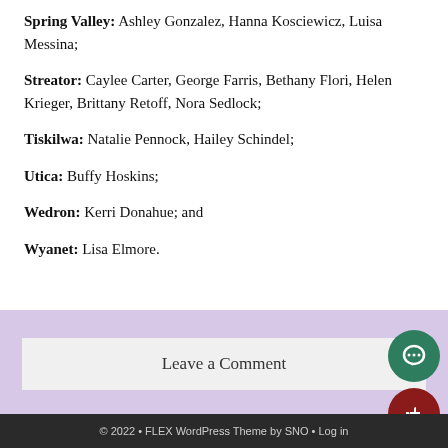Spring Valley: Ashley Gonzalez, Hanna Kosciewicz, Luisa Messina;
Streator: Caylee Carter, George Farris, Bethany Flori, Helen Krieger, Brittany Retoff, Nora Sedlock;
Tiskilwa: Natalie Pennock, Hailey Schindel;
Utica: Buffy Hoskins;
Wedron: Kerri Donahue; and
Wyanet: Lisa Elmore.
Leave a Comment
© 2022 • FLEX WordPress Theme by SNO • Log in